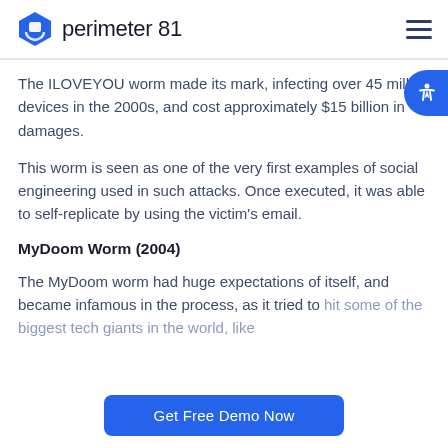perimeter 81
The ILOVEYOU worm made its mark, infecting over 45 million devices in the 2000s, and cost approximately $15 billion in damages.
This worm is seen as one of the very first examples of social engineering used in such attacks. Once executed, it was able to self-replicate by using the victim's email.
MyDoom Worm (2004)
The MyDoom worm had huge expectations of itself, and became infamous in the process, as it tried to hit some of the biggest tech giants in the world, like